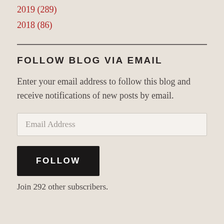2019 (289)
2018 (86)
FOLLOW BLOG VIA EMAIL
Enter your email address to follow this blog and receive notifications of new posts by email.
Email Address
FOLLOW
Join 292 other subscribers.